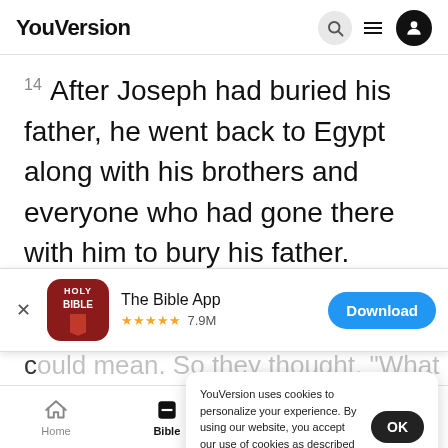YouVersion
14 After Joseph had buried his father, he went back to Egypt along with his brothers and everyone who had gone there with him to bury his father.
Joseph Forgives His Brothers
[Figure (screenshot): App download banner for The Bible App with icon, 5 star rating 7.9M reviews, and Download button]
could mean. So they thought, "What if
Joseph
decides
YouVersion uses cookies to personalize your experience. By using our website, you accept our use of cookies as described in our Privacy Policy.
Home  Bible  Plans  Videos